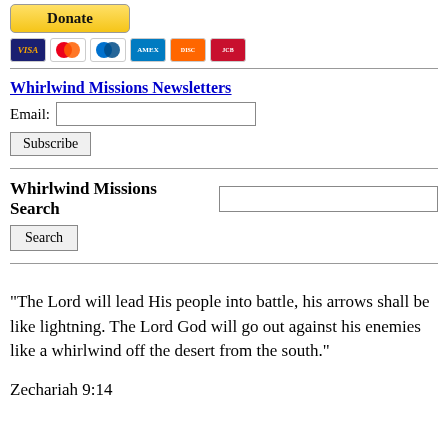[Figure (other): Donate button with PayPal and payment card icons (Visa, Mastercard, American Express, Discover, and another card)]
Whirlwind Missions Newsletters
Email: [input field] Subscribe [button]
Whirlwind Missions Search
Search [button]
"The Lord will lead His people into battle, his arrows shall be like lightning. The Lord God will go out against his enemies like a whirlwind off the desert from the south."
Zechariah 9:14